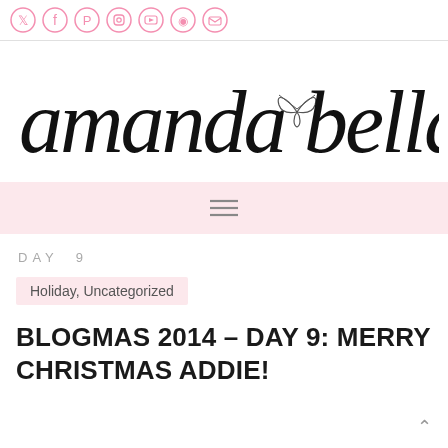Social media icons: Twitter, Facebook, Pinterest, Instagram, YouTube, RSS, Email
[Figure (logo): amanda bella script logo with a bow between the two words]
[Figure (other): Hamburger menu icon (three horizontal lines) on a pink background nav bar]
DAY 9
Holiday, Uncategorized
BLOGMAS 2014 – DAY 9: MERRY CHRISTMAS ADDIE!